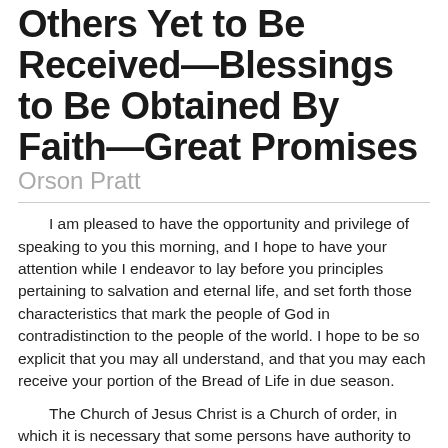Others Yet to Be Received—Blessings to Be Obtained By Faith—Great Promises Orson Pratt
I am pleased to have the opportunity and privilege of speaking to you this morning, and I hope to have your attention while I endeavor to lay before you principles pertaining to salvation and eternal life, and set forth those characteristics that mark the people of God in contradistinction to the people of the world. I hope to be so explicit that you may all understand, and that you may each receive your portion of the Bread of Life in due season.
The Church of Jesus Christ is a Church of order, in which it is necessary that some persons have authority to teach and counsel and preside. The authority of the church in this Stake, is held by President Wm. Budge, who represents the leaders of the church, and is expected to reflect their feelings and spirit upon the people under his presidency. And I must say I feel pleased with the spirit